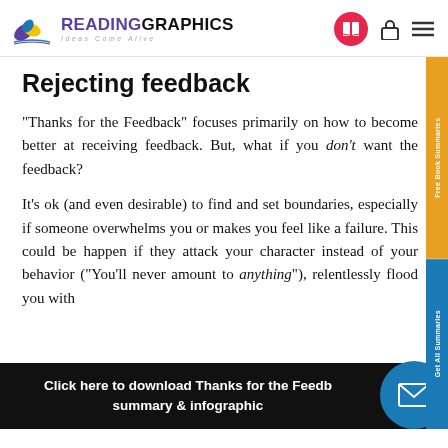READINGRAPHICS — Ideas Come Alive
Rejecting feedback
“Thanks for the Feedback” focuses primarily on how to become better at receiving feedback. But, what if you don’t want the feedback?
It’s ok (and even desirable) to find and set boundaries, especially if someone overwhelms you or makes you feel like a failure. This could be happen if they attack your character instead of your behavior (“You’ll never amount to anything”), relentlessly flood you with
Click here to download Thanks for the Feedb summary & infographic